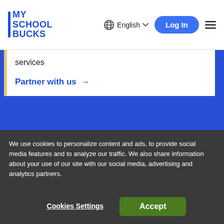MY SCHOOL BUCKS | English | Log In
services
Partner with us →
We use cookies to personalize content and ads, to provide social media features and to analyze our traffic. We also share information about your use of our site with our social media, advertising and analytics partners.
Cookies Settings | Accept